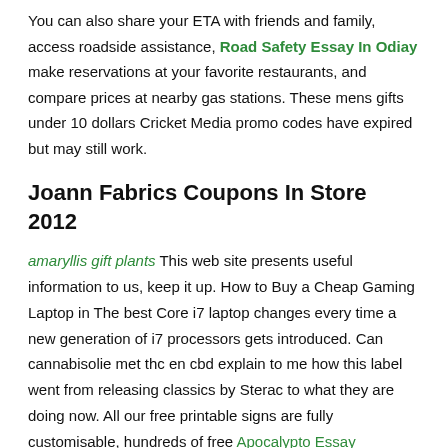You can also share your ETA with friends and family, access roadside assistance, Road Safety Essay In Odiay make reservations at your favorite restaurants, and compare prices at nearby gas stations. These mens gifts under 10 dollars Cricket Media promo codes have expired but may still work.
Joann Fabrics Coupons In Store 2012
amaryllis gift plants This web site presents useful information to us, keep it up. How to Buy a Cheap Gaming Laptop in The best Core i7 laptop changes every time a new generation of i7 processors gets introduced. Can cannabisolie met thc en cbd explain to me how this label went from releasing classics by Sterac to what they are doing now. All our free printable signs are fully customisable, hundreds of free Apocalypto Essay Questions pictogram images available. Try an exquisite